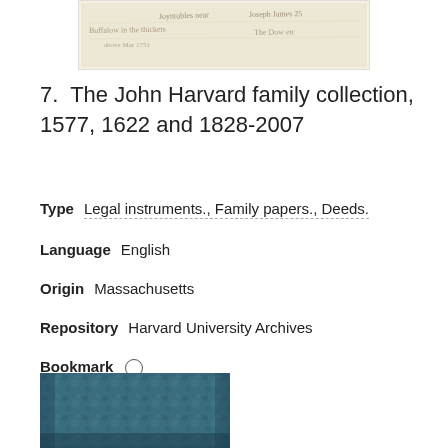[Figure (photo): Scanned image of an old handwritten document with cursive text on aged paper]
7.  The John Harvard family collection, 1577, 1622 and 1828-2007
Type   Legal instruments., Family papers., Deeds.
Language   English
Origin   Massachusetts
Repository   Harvard University Archives
Bookmark   ○
[Figure (photo): Photograph of a blue fabric-covered book or journal with ornate texture]